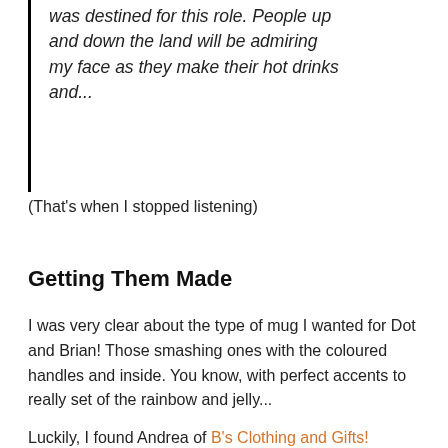was destined for this role. People up and down the land will be admiring my face as they make their hot drinks and...
(That's when I stopped listening)
Getting Them Made
I was very clear about the type of mug I wanted for Dot and Brian! Those smashing ones with the coloured handles and inside. You know, with perfect accents to really set of the rainbow and jelly...
Luckily, I found Andrea of B's Clothing and Gifts!